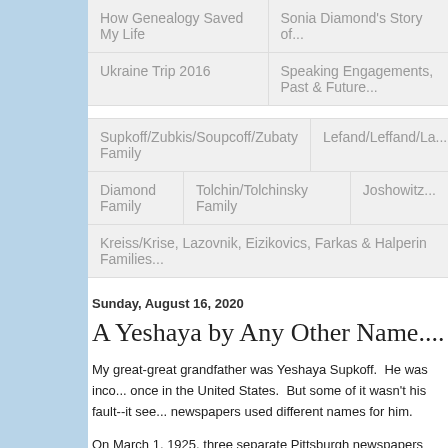How Genealogy Saved My Life | Sonia Diamond's Story of...
Ukraine Trip 2016 | Speaking Engagements, Past & Future...
Supkoff/Zubkis/Soupcoff/Zubaty Family | Lefand/Leffand/La...
Diamond Family | Tolchin/Tolchinsky Family | Joshowitz...
Kreiss/Krise, Lazovnik, Eizikovics, Farkas & Halperin Families...
Sunday, August 16, 2020
A Yeshaya by Any Other Name....
My great-great grandfather was Yeshaya Supkoff. He was inco... once in the United States. But some of it wasn't his fault--it see... newspapers used different names for him.
On March 1, 1925, three separate Pittsburgh newspapers repo... building permit. But the three newspapers called him three diffe...
Pittsburgh Daily Post (Pittsburgh, Pennsylv...